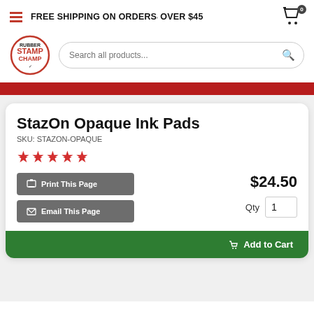FREE SHIPPING ON ORDERS OVER $45
[Figure (logo): Rubber Stamp Champ circular logo with red border and red/black text]
StazOn Opaque Ink Pads
SKU: STAZON-OPAQUE
★★★★★
$24.50
Qty 1
Print This Page
Email This Page
Add to Cart